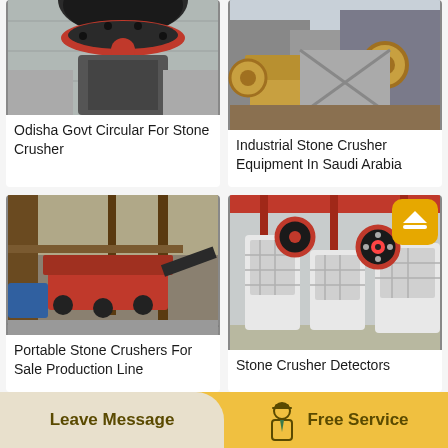[Figure (photo): Stone crusher machine with red and black top component on concrete base]
Odisha Govt Circular For Stone Crusher
[Figure (photo): Industrial stone crusher equipment at an outdoor site in Saudi Arabia]
Industrial Stone Crusher Equipment In Saudi Arabia
[Figure (photo): Portable stone crusher on a production line with red machinery]
Portable Stone Crushers For Sale Production Line
[Figure (photo): Stone crusher detectors — white jaw crusher machines in industrial warehouse]
Stone Crusher Detectors
Leave Message
Free Service